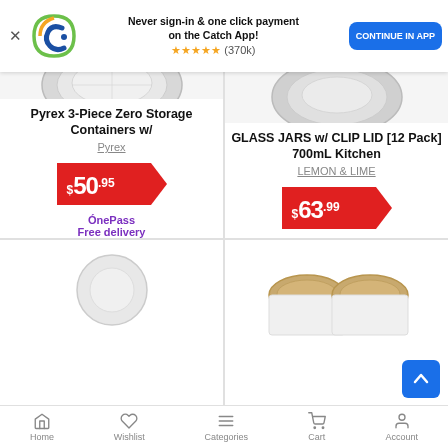[Figure (screenshot): Catch app promotional banner with logo, text 'Never sign-in & one click payment on the Catch App!', 5-star rating (370k reviews), and 'CONTINUE IN APP' button]
[Figure (photo): Partial top view of Pyrex storage container lid]
Pyrex 3-Piece Zero Storage Containers w/
Pyrex
$50.95
OnePass Free delivery
[Figure (photo): Partial top view of glass jar with clip lid]
GLASS JARS w/ CLIP LID [12 Pack] 700mL Kitchen
LEMON & LIME
$63.99
[Figure (photo): Partial bottom of product card 3 showing circular item]
[Figure (photo): Product card 4 showing two items with tan/cream lids]
Home  Wishlist  Categories  Cart  Account